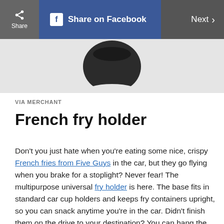Share | Share on Facebook | Next
[Figure (photo): Product image of a dark/black French fry holder viewed from above, on a light gray background]
VIA MERCHANT
French fry holder
Don't you just hate when you're eating some nice, crispy French fries from Five Guys in the car, but they go flying when you brake for a stoplight? Never fear! The multipurpose universal fry holder is here. The base fits in standard car cup holders and keeps fry containers upright, so you can snack anytime you're in the car. Didn't finish them on the drive to your destination? You can hang the device from your belt and turn it into your personal fry holster.